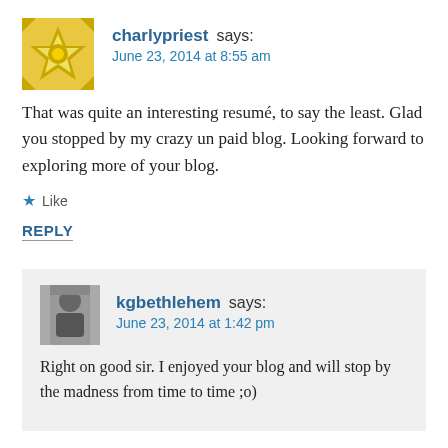[Figure (illustration): Yellow decorative avatar icon with geometric star/flower pattern for user charlypriest]
charlypriest says:
June 23, 2014 at 8:55 am
That was quite an interesting resumé, to say the least. Glad you stopped by my crazy un paid blog. Looking forward to exploring more of your blog.
Like
REPLY
[Figure (photo): Grayscale photo of a man for user kgbethlehem]
kgbethlehem says:
June 23, 2014 at 1:42 pm
Right on good sir. I enjoyed your blog and will stop by the madness from time to time ;o)